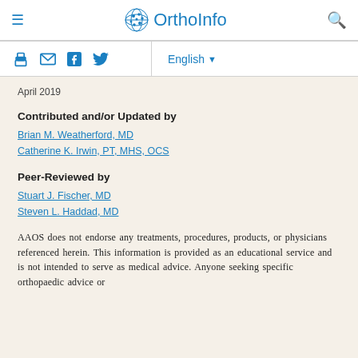OrthoInfo
April 2019
Contributed and/or Updated by
Brian M. Weatherford, MD
Catherine K. Irwin, PT, MHS, OCS
Peer-Reviewed by
Stuart J. Fischer, MD
Steven L. Haddad, MD
AAOS does not endorse any treatments, procedures, products, or physicians referenced herein. This information is provided as an educational service and is not intended to serve as medical advice. Anyone seeking specific orthopaedic advice or